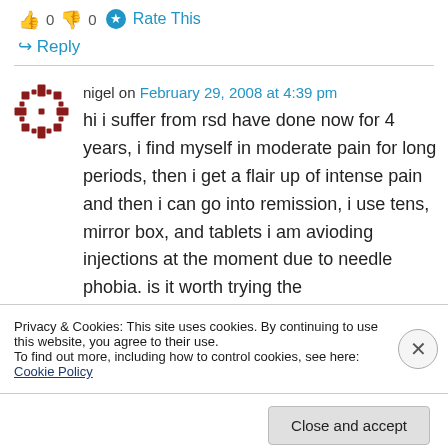0  0  Rate This
↪ Reply
nigel on February 29, 2008 at 4:39 pm
hi i suffer from rsd have done now for 4 years, i find myself in moderate pain for long periods, then i get a flair up of intense pain and then i can go into remission, i use tens, mirror box, and tablets i am avioding injections at the moment due to needle phobia. is it worth trying the
Privacy & Cookies: This site uses cookies. By continuing to use this website, you agree to their use.
To find out more, including how to control cookies, see here: Cookie Policy
Close and accept